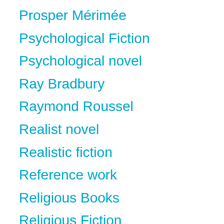Prosper Mérimée
Psychological Fiction
Psychological novel
Ray Bradbury
Raymond Roussel
Realist novel
Realistic fiction
Reference work
Religious Books
Religious Fiction
Richard Burton
Richard von Krafft-Ebing
Richelle Mead